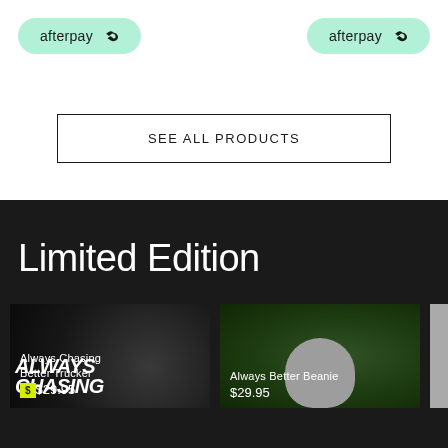[Figure (logo): Afterpay logo badge (mint green rounded pill) on left]
[Figure (logo): Afterpay logo badge (mint green rounded pill) on right]
SEE ALL PRODUCTS
Limited Edition
[Figure (photo): Always Chasing Better Trucker product photo with price $29.95]
[Figure (photo): Always Better Beanie product photo with price $29.95]